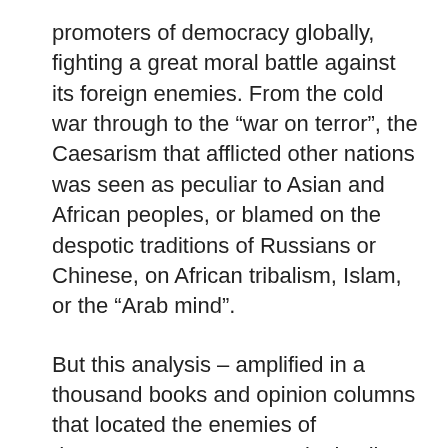promoters of democracy globally, fighting a great moral battle against its foreign enemies. From the cold war through to the “war on terror”, the Caesarism that afflicted other nations was seen as peculiar to Asian and African peoples, or blamed on the despotic traditions of Russians or Chinese, on African tribalism, Islam, or the “Arab mind”.
But this analysis – amplified in a thousand books and opinion columns that located the enemies of democracy among menacingly alien people and their inferior cultures – did not prepare its audience for the sight of blond bullies perched atop the world’s greatest democracies. The barbarians, it turns out, were never at the gate; they have been ruling us for some time.
The belated shock of this realisation has made impotent those in the dominant stream of established...